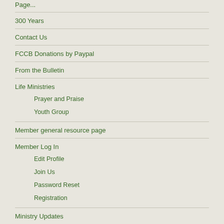Page...
300 Years
Contact Us
FCCB Donations by Paypal
From the Bulletin
Life Ministries
Prayer and Praise
Youth Group
Member general resource page
Member Log In
Edit Profile
Join Us
Password Reset
Registration
Ministry Updates
Our Community and World Missions